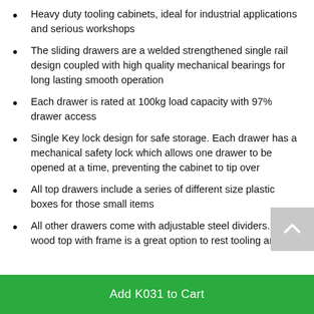Heavy duty tooling cabinets, ideal for industrial applications and serious workshops
The sliding drawers are a welded strengthened single rail design coupled with high quality mechanical bearings for long lasting smooth operation
Each drawer is rated at 100kg load capacity with 97% drawer access
Single Key lock design for safe storage. Each drawer has a mechanical safety lock which allows one drawer to be opened at a time, preventing the cabinet to tip over
All top drawers include a series of different size plastic boxes for those small items
All other drawers come with adjustable steel dividers. The wood top with frame is a great option to rest tooling and
Add K031 to Cart